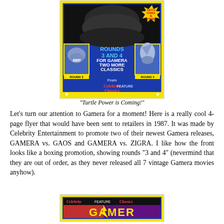[Figure (photo): A colorful VHS promotional flyer for Celebrity Entertainment's Gamera releases. Blue background with yellow border. Shows a monster/Gamera at top (dark silhouette with open mouth). Center text reads 'ROUNDS 3 AND 4 FOR GAMERA TWO MORE CLASSICS'. Two smaller movie images on left (Round 3) and right (Round 4). Text 'From' with cursive Celebrity Feature Classics logo. Yellow bar at bottom with white stars. Yellow starburst sticker in top-right corner reading 'TURTLE POWER IS COMING'.]
"Turtle Power is Coming!"
Let's turn our attention to Gamera for a moment! Here is a really cool 4-page flyer that would have been sent to retailers in 1987.  It was made by Celebrity Entertainment to promote two of their newest Gamera releases, GAMERA vs. GAOS and GAMERA vs. ZIGRA.  I like how the front looks like a boxing promotion, showing rounds "3 and 4" (nevermind that they are out of order, as they never released all 7 vintage Gamera movies anyhow).
[Figure (photo): Bottom portion of a second Celebrity Feature Classics promotional flyer. Dark background with the beginning of 'GAMERA' title text visible in yellow, with purple/red gradient and lightning bolt graphics.]